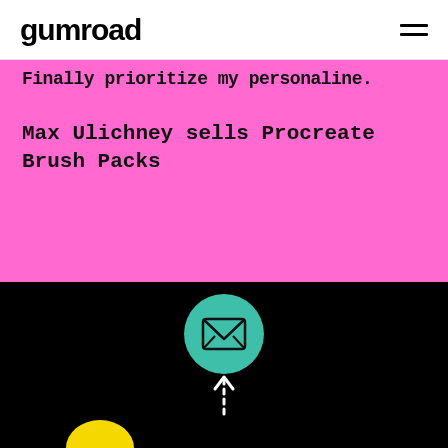gumroad
Finally prioritize my personaline.
Max Ulichney sells Procreate Brush Packs
[Figure (illustration): Black background section with a teal circle containing a white envelope/mail icon, a white dashed upward arrow below it, and a partial yellow circle at the bottom left corner]